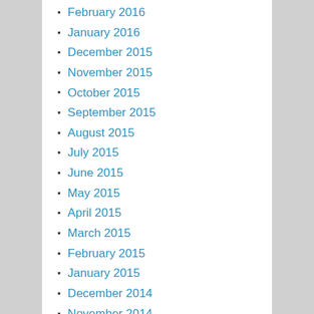February 2016
January 2016
December 2015
November 2015
October 2015
September 2015
August 2015
July 2015
June 2015
May 2015
April 2015
March 2015
February 2015
January 2015
December 2014
November 2014
October 2014
July 2014
CATEGORIES
analysis
opinions